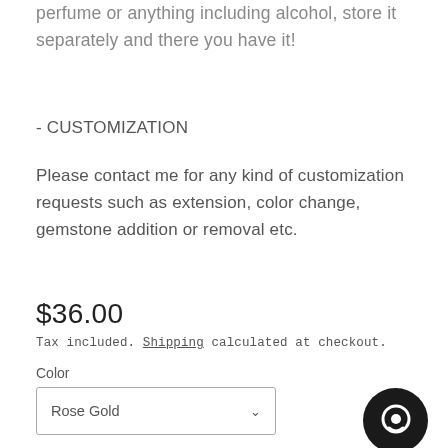perfume or anything including alcohol, store it separately and there you have it!
- CUSTOMIZATION
Please contact me for any kind of customization requests such as extension, color change, gemstone addition or removal etc.
$36.00
Tax included. Shipping calculated at checkout.
Color
Rose Gold
Quantity